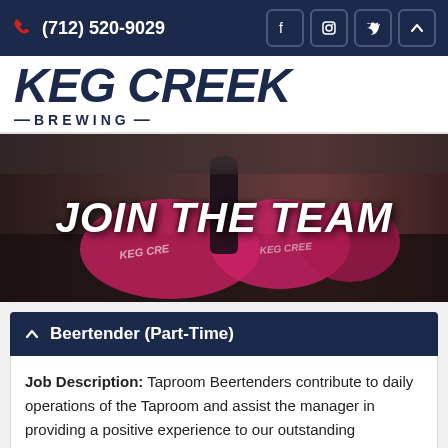(712) 520-9029
KEG CREEK BREWING
[Figure (photo): Keg Creek Brewing merchandise including pink t-shirts and branded items on a bar counter, with JOIN THE TEAM text overlay]
Beertender (Part-Time)
Job Description: Taproom Beertenders contribute to daily operations of the Taproom and assist the manager in providing a positive experience to our outstanding